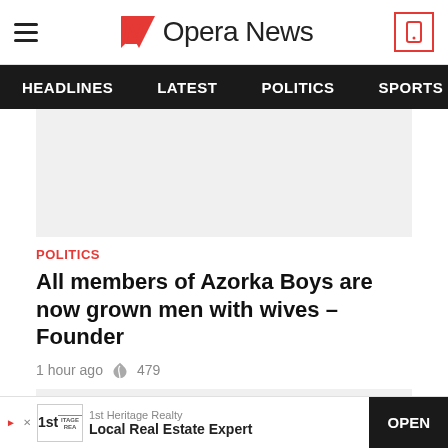Opera News
HEADLINES | LATEST | POLITICS | SPORTS | B
[Figure (other): Gray advertisement placeholder rectangle]
POLITICS
All members of Azorka Boys are now grown men with wives – Founder
1 hour ago  479
[Figure (other): Gray advertisement placeholder with red chevron down button]
1st Heritage Realty  Local Real Estate Expert  OPEN